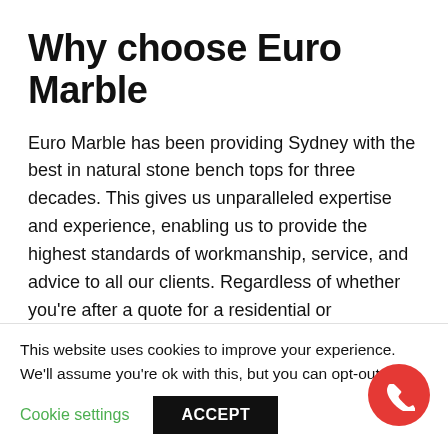Why choose Euro Marble
Euro Marble has been providing Sydney with the best in natural stone bench tops for three decades. This gives us unparalleled expertise and experience, enabling us to provide the highest standards of workmanship, service, and advice to all our clients. Regardless of whether you’re after a quote for a residential or commercial project, you can be assured of our professionalism and outstanding products and services at all times.
If you’d like to know more about our products or
This website uses cookies to improve your experience. We'll assume you're ok with this, but you can opt-out if yo
Cookie settings   ACCEPT